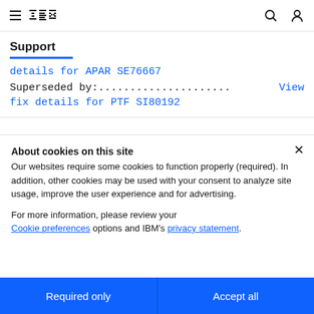IBM Support
Support
details for APAR SE76667
Superseded by:..................... View fix details for PTF SI80192
About cookies on this site
Our websites require some cookies to function properly (required). In addition, other cookies may be used with your consent to analyze site usage, improve the user experience and for advertising.
For more information, please review your Cookie preferences options and IBM's privacy statement.
Required only
Accept all